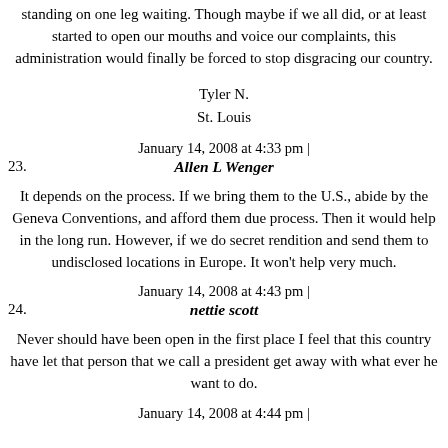standing on one leg waiting. Though maybe if we all did, or at least started to open our mouths and voice our complaints, this administration would finally be forced to stop disgracing our country.
Tyler N.
St. Louis
January 14, 2008 at 4:33 pm |
23. Allen L Wenger
It depends on the process. If we bring them to the U.S., abide by the Geneva Conventions, and afford them due process. Then it would help in the long run. However, if we do secret rendition and send them to undisclosed locations in Europe. It won't help very much.
January 14, 2008 at 4:43 pm |
24. nettie scott
Never should have been open in the first place I feel that this country have let that person that we call a president get away with what ever he want to do.
January 14, 2008 at 4:44 pm |